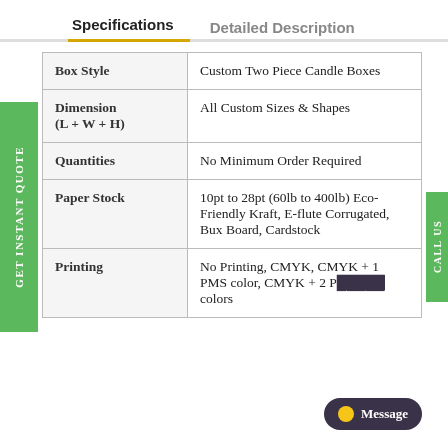Specifications | Detailed Description
|  |  |
| --- | --- |
| Box Style | Custom Two Piece Candle Boxes |
| Dimension (L + W + H) | All Custom Sizes & Shapes |
| Quantities | No Minimum Order Required |
| Paper Stock | 10pt to 28pt (60lb to 400lb) Eco-Friendly Kraft, E-flute Corrugated, Bux Board, Cardstock |
| Printing | No Printing, CMYK, CMYK + 1 PMS color, CMYK + 2 P... colors |